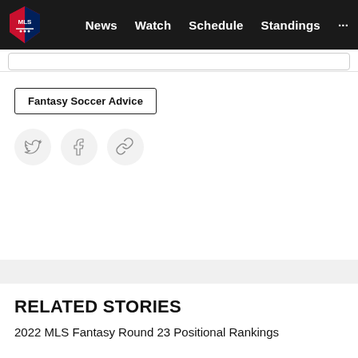MLS — News  Watch  Schedule  Standings  ...
Fantasy Soccer Advice
[Figure (illustration): Three social sharing icon buttons in light gray circles: Twitter bird icon, Facebook 'f' icon, and a chain/link icon]
RELATED STORIES
2022 MLS Fantasy Round 23 Positional Rankings